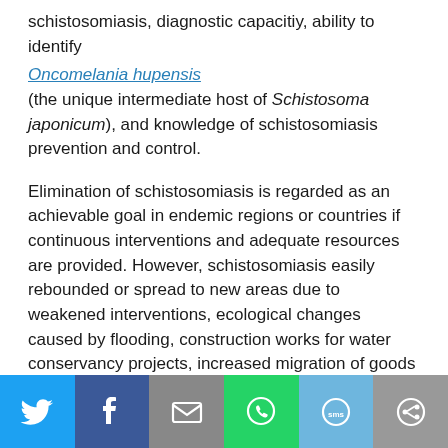schistosomiasis, diagnostic capacitiy, ability to identify
Oncomelania hupensis (the unique intermediate host of Schistosoma japonicum), and knowledge of schistosomiasis prevention and control.
Elimination of schistosomiasis is regarded as an achievable goal in endemic regions or countries if continuous interventions and adequate resources are provided. However, schistosomiasis easily rebounded or spread to new areas due to weakened interventions, ecological changes caused by flooding, construction works for water conservancy projects, increased migration of goods or human resources etc., without a thorough surveillance and response system.
As Shanghai, Guangdong, Fujian, Guangxi and Zhejiang
[Figure (infographic): Social media sharing bar with icons for Twitter, Facebook, Email, WhatsApp, SMS, and another sharing option]